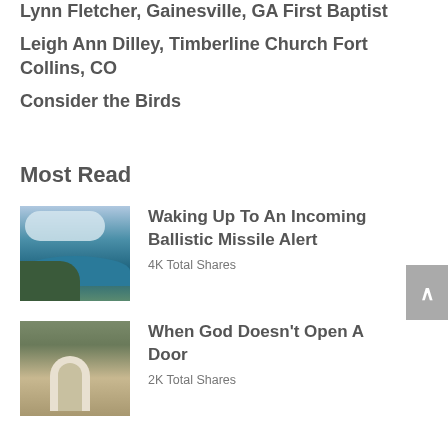Lynn Fletcher, Gainesville, GA First Baptist
Leigh Ann Dilley, Timberline Church Fort Collins, CO
Consider the Birds
Most Read
[Figure (photo): Ocean cliff scene with waves and cloudy sky]
Waking Up To An Incoming Ballistic Missile Alert
4K Total Shares
[Figure (photo): Old stone building with arched doorway covered in vines]
When God Doesn't Open A Door
2K Total Shares